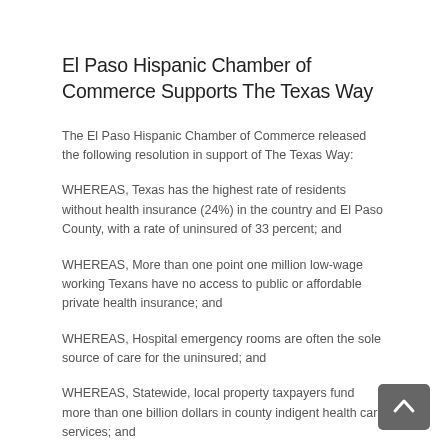El Paso Hispanic Chamber of Commerce Supports The Texas Way
The El Paso Hispanic Chamber of Commerce released the following resolution in support of The Texas Way:
WHEREAS, Texas has the highest rate of residents without health insurance (24%) in the country and El Paso County, with a rate of uninsured of 33 percent; and
WHEREAS, More than one point one million low-wage working Texans have no access to public or affordable private health insurance; and
WHEREAS, Hospital emergency rooms are often the sole source of care for the uninsured; and
WHEREAS, Statewide, local property taxpayers fund more than one billion dollars in county indigent health care services; and